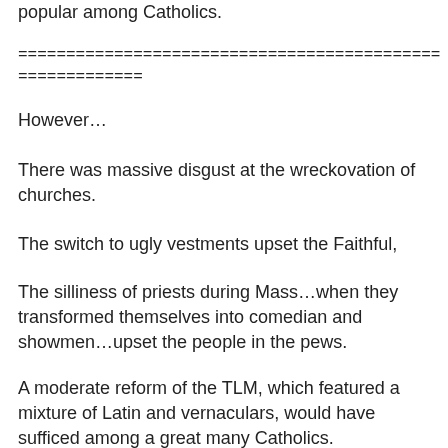popular among Catholics.
=============================================
=============
However…
There was massive disgust at the wreckovation of churches.
The switch to ugly vestments upset the Faithful,
The silliness of priests during Mass…when they transformed themselves into comedian and showmen…upset the people in the pews.
A moderate reform of the TLM, which featured a mixture of Latin and vernaculars, would have sufficed among a great many Catholics.